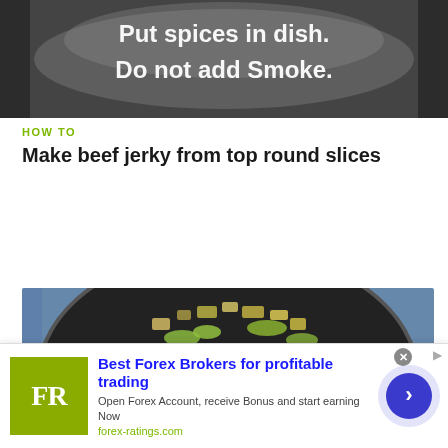[Figure (photo): Screenshot from a cooking instructional video showing text 'Put spices in dish. Do not add Smoke.' overlaid on a dark background with food imagery]
HOW TO
Make beef jerky from top round slices
[Figure (photo): Photo of a black pan/wok with fried rice, vegetables, egg and meat being cooked]
HOW TO
Cook pork fried rice with Kai
[Figure (infographic): Advertisement banner for ForexRatings.com: 'Best Forex Brokers for profitable trading'. Logo shows FR on olive/green background. Button with right arrow.]